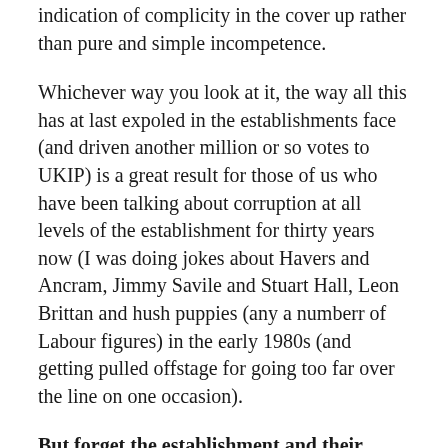indication of complicity in the cover up rather than pure and simple incompetence.
Whichever way you look at it, the way all this has at last expoled in the establishments face (and driven another million or so votes to UKIP) is a great result for those of us who have been talking about corruption at all levels of the establishment for thirty years now (I was doing jokes about Havers and Ancram, Jimmy Savile and Stuart Hall, Leon Brittan and hush puppies (any a numberr of Labour figures) in the early 1980s (and getting pulled offstage for going too far over the line on one occasion).
But forget the establishment and their